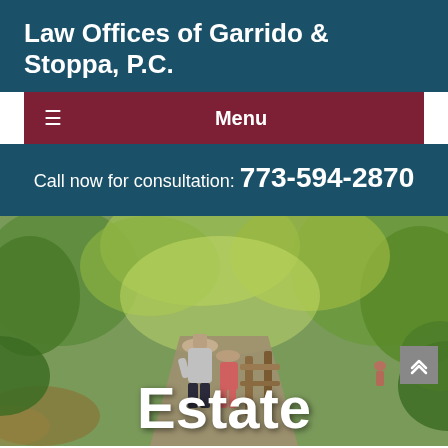Law Offices of Garrido & Stoppa, P.C.
Menu
Call now for consultation: 773-594-2870
[Figure (photo): An elderly couple walking on a path through a wooded area, viewed from behind, approaching a wooden fence/railing. Green trees and foliage surround them.]
Estate